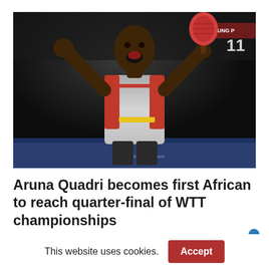[Figure (photo): Aruna Quadri celebrating with fists raised and holding a table tennis racket, wearing a red and grey jersey, in a dark arena setting.]
Aruna Quadri becomes first African to reach quarter-final of WTT championships
This website uses cookies.